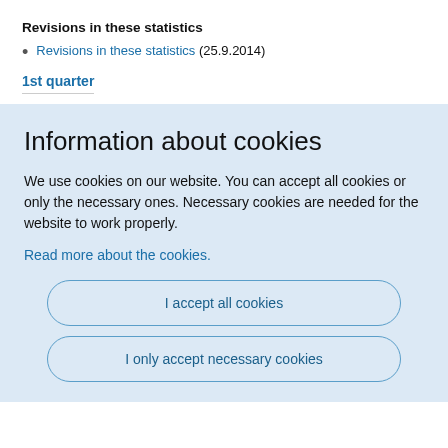Revisions in these statistics
Revisions in these statistics (25.9.2014)
1st quarter
Information about cookies
We use cookies on our website. You can accept all cookies or only the necessary ones. Necessary cookies are needed for the website to work properly.
Read more about the cookies.
I accept all cookies
I only accept necessary cookies